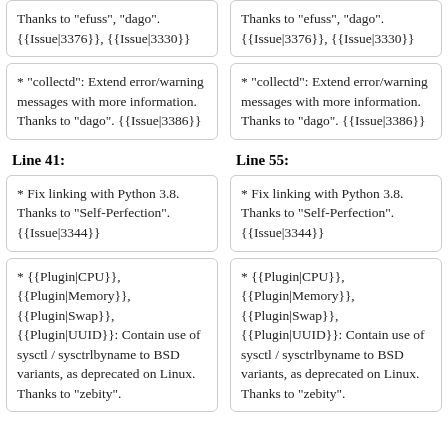Thanks to "efuss", "dago". {{Issue|3376}}, {{Issue|3330}}
Thanks to "efuss", "dago". {{Issue|3376}}, {{Issue|3330}}
* "collectd": Extend error/warning messages with more information. Thanks to "dago". {{Issue|3386}}
* "collectd": Extend error/warning messages with more information. Thanks to "dago". {{Issue|3386}}
Line 41:
Line 55:
* Fix linking with Python 3.8. Thanks to "Self-Perfection". {{Issue|3344}}
* Fix linking with Python 3.8. Thanks to "Self-Perfection". {{Issue|3344}}
* {{Plugin|CPU}}, {{Plugin|Memory}}, {{Plugin|Swap}}, {{Plugin|UUID}}: Contain use of sysctl / sysctrlbyname to BSD variants, as deprecated on Linux. Thanks to "zebity".
* {{Plugin|CPU}}, {{Plugin|Memory}}, {{Plugin|Swap}}, {{Plugin|UUID}}: Contain use of sysctl / sysctrlbyname to BSD variants, as deprecated on Linux. Thanks to "zebity".